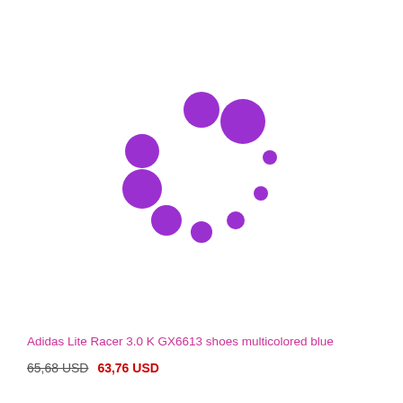[Figure (other): Purple loading spinner animation dots arranged in a circle, varying in size, in shades of purple on white background]
Adidas Lite Racer 3.0 K GX6613 shoes multicolored blue
65,68 USD  63,76 USD